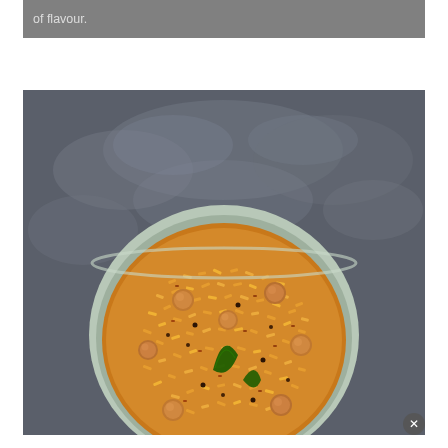of flavour.
[Figure (photo): Overhead shot of a bowl of spiced rice (tamarind rice / puliyodarai) with peanuts and curry leaves, garnished, seen from above on a dark grey textured background.]